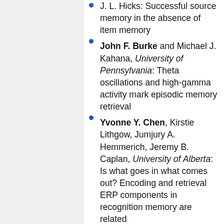J. L. Hicks: Successful source memory in the absence of item memory
John F. Burke and Michael J. Kahana, University of Pennsylvania: Theta oscillations and high-gamma activity mark episodic memory retrieval
Yvonne Y. Chen, Kirstie Lithgow, Jumjury A. Hemmerich, Jeremy B. Caplan, University of Alberta: Is what goes in what comes out? Encoding and retrieval ERP components in recognition memory are related
Wenyi Zhou, Andrea G. Hohmann, & Jonathon D. Crystal, Indiana University: Rats use episodic memory to report on incidentally encoded information
Brian Dillon, Alan Mishler, Shayne ...